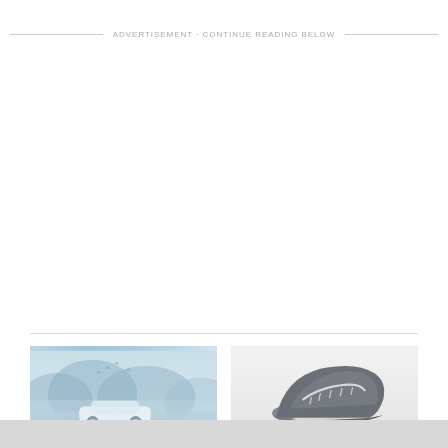ADVERTISEMENT · CONTINUE READING BELOW
[Figure (photo): A car driving through a misty mountain landscape with birds in the sky, blue-toned illustration]
[Figure (photo): Close-up of a gray and white athletic sneaker on a light gray background]